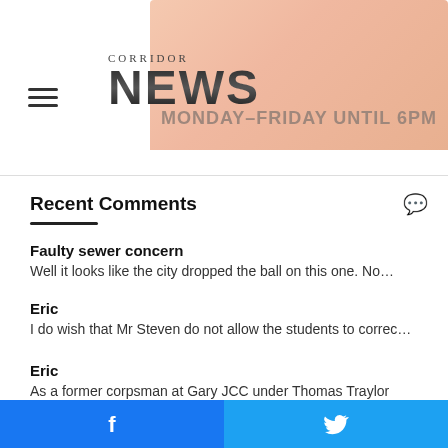[Figure (logo): Corridor News logo with hamburger menu and banner background]
Recent Comments
Faulty sewer concern
Well it looks like the city dropped the ball on this one. No…
Eric
I do wish that Mr Steven do not allow the students to correc…
Eric
As a former corpsman at Gary JCC under Thomas Traylor Direct…
Robert Holeman
Whichever… The result is the same. Government budgeting…
[Figure (infographic): Facebook and Twitter social share buttons at page footer]